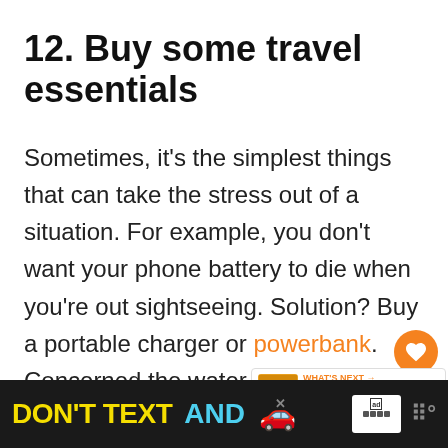12. Buy some travel essentials
Sometimes, it's the simplest things that can take the stress out of a situation. For example, you don't want your phone battery to die when you're out sightseeing. Solution? Buy a portable charger or powerbank. Concerned the water might not be safe to drink?
[Figure (screenshot): Ad banner: DON'T TEXT AND [car emoji] with NHTSA logo and ad choices icons on dark background]